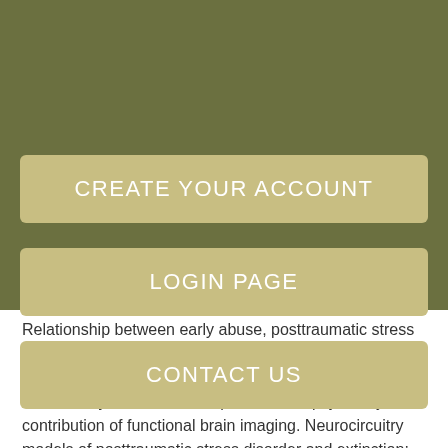Asian girls stockton on tees
CREATE YOUR ACCOUNT
LOGIN PAGE
CONTACT US
Relationship between early abuse, posttraumatic stress disorder, and activity levels in prepubertal children. Annual research review: childhood maltreatment, latent vulnerability and the shift to preventative psychiatry - the contribution of functional brain imaging. Neurocircuitry models of posttraumatic stress disorder and extinction: human neuroimaging research—past, present, and future.
Eur Neuropsychopharmacol. Harville EW, Do M. Reproductive and birth outcomes in haiti before Solibull consort latinos after the